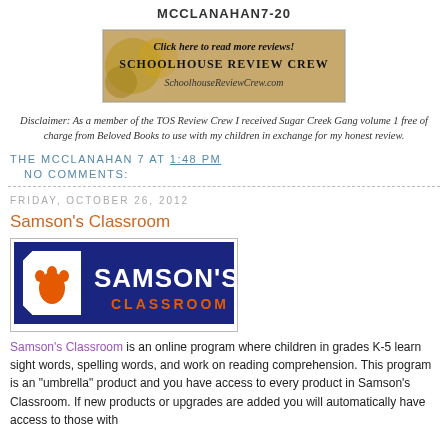MCCLANAHAN7-20
[Figure (logo): Schoolhouse Review Crew banner ad with compasses: 'Click here to read more reviews! SCHOOLHOUSE REVIEW CREW SchoolhouseReviewCrew.com']
Disclaimer: As a member of the TOS Review Crew I received Sugar Creek Gang volume 1 free of charge from Beloved Books to use with my children in exchange for my honest review.
THE MCCLANAHAN 7 AT 1:48 PM
  NO COMMENTS:
FRIDAY, OCTOBER 26, 2012
Samson's Classroom
[Figure (logo): Samson's Classroom logo: blue background with orange paw print and white/blue text reading SAMSON'S CLASSROOM]
Samson's Classroom is an online program where children in grades K-5 learn sight words, spelling words, and work on reading comprehension. This program is an "umbrella" product and you have access to every product in Samson's Classroom. If new products or upgrades are added you will automatically have access to those with